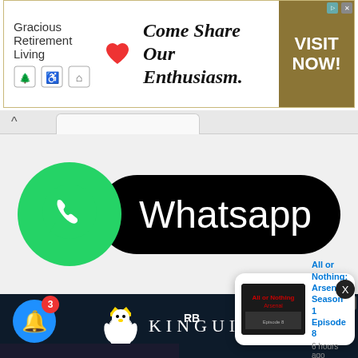[Figure (screenshot): Advertisement banner for Gracious Retirement Living with text 'Come Share Our Enthusiasm.' and gold 'VISIT NOW!' button on right]
[Figure (logo): WhatsApp logo with green circle containing phone handset icon and black pill-shaped background with text 'Whatsapp']
[Figure (logo): Kinguin advertisement with penguin mascot wearing crown and 'KINGUIN' text in white letters on dark navy background]
All or Nothing: Arsenal Season 1 Episode 8
6 hours ago